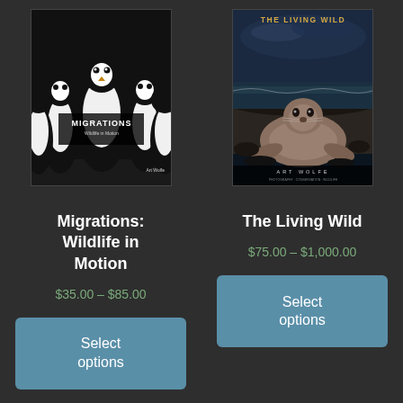[Figure (photo): Book cover of 'Migrations: Wildlife in Motion' by Art Wolfe, showing a group of penguins in black and white]
[Figure (photo): Book cover of 'The Living Wild' by Art Wolfe, showing a seal on a rocky beach with ocean in background]
Migrations: Wildlife in Motion
The Living Wild
$35.00 – $85.00
$75.00 – $1,000.00
Select options
Select options